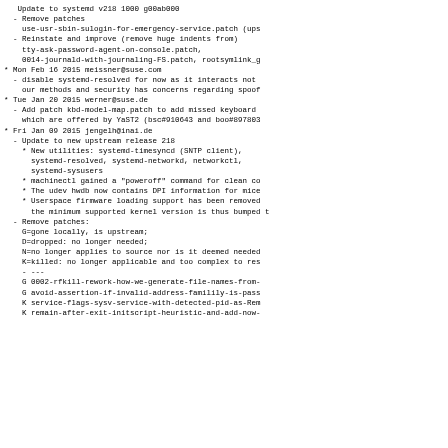Update to systemd v218 1000 g00ab000
- Remove patches
    use-usr-sbin-sulogin-for-emergency-service.patch (ups
- Reinstate and improve (remove huge indents from)
    tty-ask-password-agent-on-console.patch,
    0014-journald-with-journaling-FS.patch, rootsymlink_g
* Mon Feb 16 2015 meissner@suse.com
  - disable systemd-resolved for now as it interacts not
    our methods and security has concerns regarding spoof
* Tue Jan 20 2015 werner@suse.de
  - Add patch kbd-model-map.patch to add missed keyboard
    which are offered by YaST2 (bsc#910643 and boo#897803
* Fri Jan 09 2015 jengelh@inai.de
  - Update to new upstream release 218
    * New utilities: systemd-timesyncd (SNTP client),
      systemd-resolved, systemd-networkd, networkctl,
      systemd-sysusers
    * machinectl gained a "poweroff" command for clean co
    * The udev hwdb now contains DPI information for mice
    * Userspace firmware loading support has been removed
      the minimum supported kernel version is thus bumped t
  - Remove patches:
    G=gone locally, is upstream;
    D=dropped: no longer needed;
    N=no longer applies to source nor is it deemed needed
    K=killed: no longer applicable and too complex to res
    - ---
    G 0002-rfkill-rework-how-we-generate-file-names-from-
    G avoid-assertion-if-invalid-address-familily-is-pass
    K service-flags-sysv-service-with-detected-pid-as-Rem
    K remain-after-exit-initscript-heuristic-and-add-now-